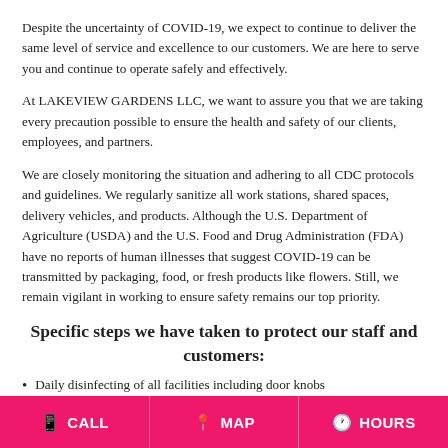Despite the uncertainty of COVID-19, we expect to continue to deliver the same level of service and excellence to our customers. We are here to serve you and continue to operate safely and effectively.
At LAKEVIEW GARDENS LLC, we want to assure you that we are taking every precaution possible to ensure the health and safety of our clients, employees, and partners.
We are closely monitoring the situation and adhering to all CDC protocols and guidelines. We regularly sanitize all work stations, shared spaces, delivery vehicles, and products. Although the U.S. Department of Agriculture (USDA) and the U.S. Food and Drug Administration (FDA) have no reports of human illnesses that suggest COVID-19 can be transmitted by packaging, food, or fresh products like flowers. Still, we remain vigilant in working to ensure safety remains our top priority.
Specific steps we have taken to protect our staff and customers:
Daily disinfecting of all facilities including door knobs
CALL   MAP   HOURS